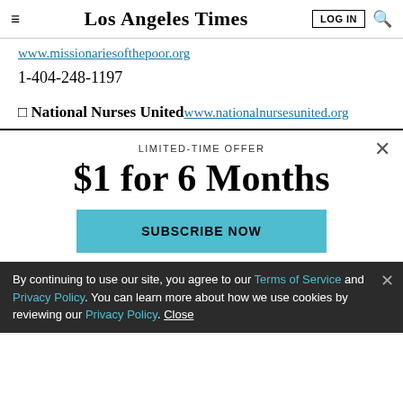Los Angeles Times
www.missionariesofthepoor.org
1-404-248-1197
□ National Nurses United www.nationalnursesunited.org
LIMITED-TIME OFFER
$1 for 6 Months
SUBSCRIBE NOW
By continuing to use our site, you agree to our Terms of Service and Privacy Policy. You can learn more about how we use cookies by reviewing our Privacy Policy. Close